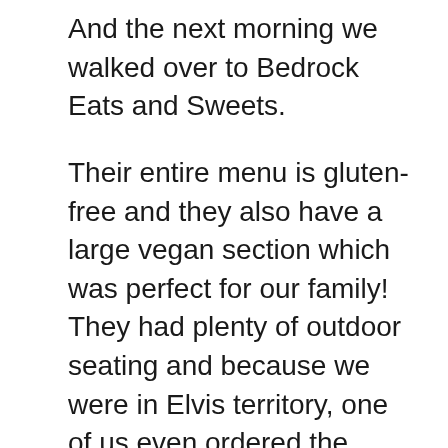And the next morning we walked over to Bedrock Eats and Sweets.
Their entire menu is gluten-free and they also have a large vegan section which was perfect for our family! They had plenty of outdoor seating and because we were in Elvis territory, one of us even ordered the fluffernutter waffle. It was even better than it looks!
Breakfast at Bedrock Eats and Sweets in Memphis, Tennessee